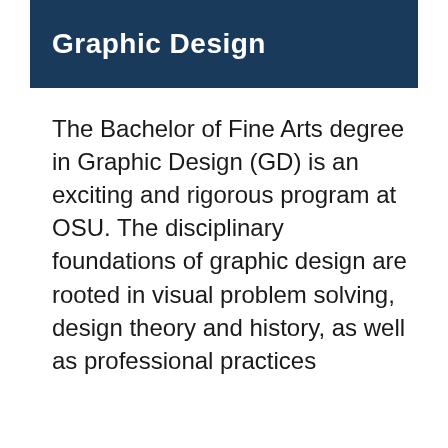Graphic Design
The Bachelor of Fine Arts degree in Graphic Design (GD) is an exciting and rigorous program at OSU. The disciplinary foundations of graphic design are rooted in visual problem solving, design theory and history, as well as professional practices